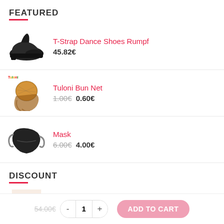FEATURED
T-Strap Dance Shoes Rumpf — 45.82€
Tuloni Bun Net — 1.00€ 0.60€
Mask — 6.00€ 4.00€
DISCOUNT
FR Duval Pointe Shoes
54.00€
- 1 + ADD TO CART